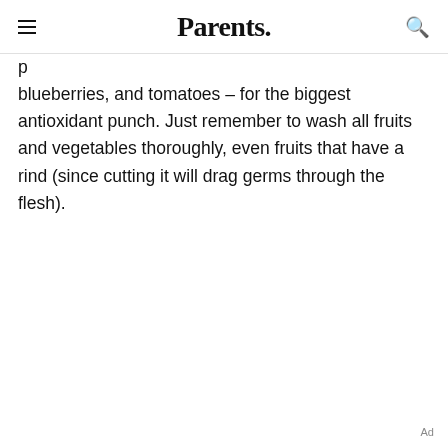Parents.
p[...] blueberries, and tomatoes – for the biggest antioxidant punch. Just remember to wash all fruits and vegetables thoroughly, even fruits that have a rind (since cutting it will drag germs through the flesh).
Ad